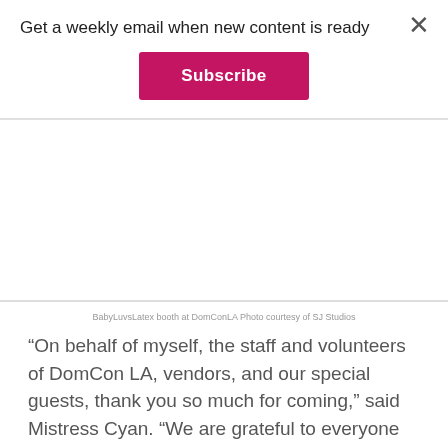Get a weekly email when new content is ready
Subscribe
BabyLuvsLatex booth at DomConLA Photo courtesy of SJ Studios
“On behalf of myself, the staff and volunteers of DomCon LA, vendors, and our special guests, thank you so much for coming,” said Mistress Cyan. “We are grateful to everyone who came, and participated. Our kind thanks go out to the army of volunteers that make this event possible, and to our sponsors, Whiplr, Kink.com, Stockroom, and AVN.”
Mistress Cyan and the DomCon board are making strides in debuting a DomCon London or Australia